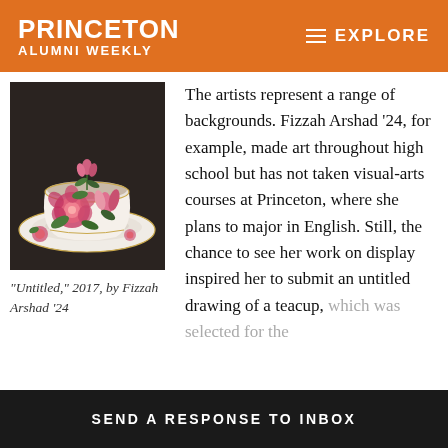PRINCETON ALUMNI WEEKLY  ≡ EXPLORE
[Figure (photo): A detailed painting of a white teacup and saucer decorated with pink and red roses and green leaves, on a dark background.]
“Untitled,” 2017, by Fizzah Arshad ’24
The artists represent a range of backgrounds. Fizzah Arshad ’24, for example, made art throughout high school but has not taken visual-arts courses at Princeton, where she plans to major in English. Still, the chance to see her work on display inspired her to submit an untitled drawing of a teacup, which was selected for the
SEND A RESPONSE TO INBOX